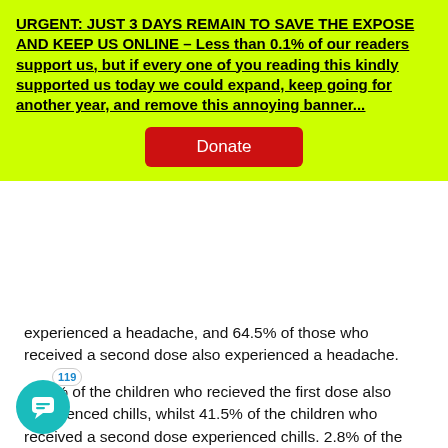URGENT: JUST 3 DAYS REMAIN TO SAVE THE EXPOSE AND KEEP US ONLINE – Less than 0.1% of our readers support us, but if every one of you reading this kindly supported us today we could expand, keep going for another year, and remove this annoying banner...
[Figure (other): Red donate button]
experienced a headache, and 64.5% of those who received a second dose also experienced a headache.
27.6% of the children who recieved the first dose also experienced chills, whilst 41.5% of the children who received a second dose experienced chills. 2.8% of the children who received a first dose experienced vomiting, whilst 2.6% of the children who received a second dose experienced vomiting.
The final specific adverse reaction that the FDA list is diarrhoea. Of the 1,127 children who received the first dose 8.0% suffered with diarrhoea. Of the 1,097 children who received a 2nd dose 5.6% experienced diarrhoea.